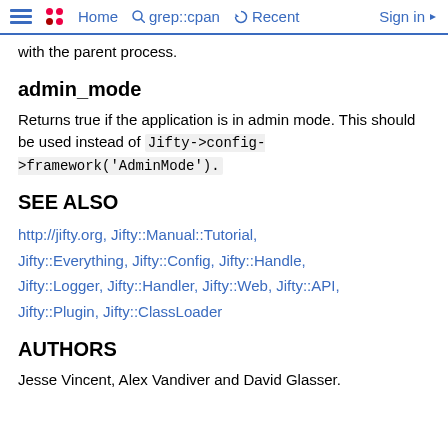Home  grep::cpan  Recent  Sign in
with the parent process.
admin_mode
Returns true if the application is in admin mode. This should be used instead of Jifty->config->framework('AdminMode').
SEE ALSO
http://jifty.org, Jifty::Manual::Tutorial, Jifty::Everything, Jifty::Config, Jifty::Handle, Jifty::Logger, Jifty::Handler, Jifty::Web, Jifty::API, Jifty::Plugin, Jifty::ClassLoader
AUTHORS
Jesse Vincent, Alex Vandiver and David Glasser.